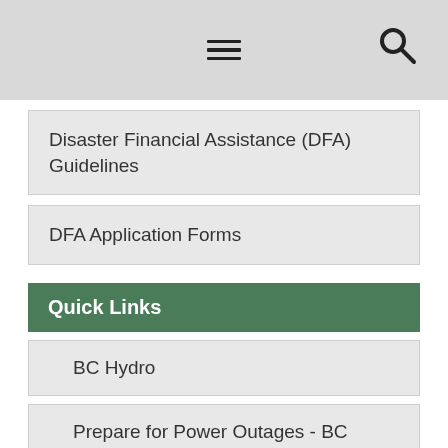[hamburger menu icon] [search icon]
Disaster Financial Assistance (DFA) Guidelines
DFA Application Forms
Quick Links
BC Hydro
Prepare for Power Outages - BC Hydro
Prepare for Power Outages